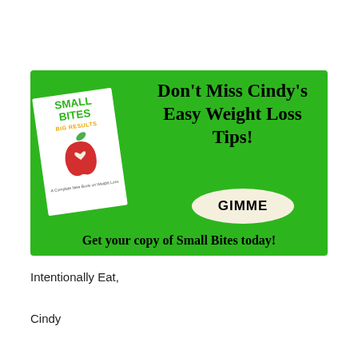[Figure (infographic): Green advertisement banner for 'Small Bites Big Results' book by Cindy. Shows book cover with red apple on left, text 'Don't Miss Cindy's Easy Weight Loss Tips!' on right, an oval 'GIMME' button, and bottom text 'Get your copy of Small Bites today!']
Intentionally Eat,
Cindy